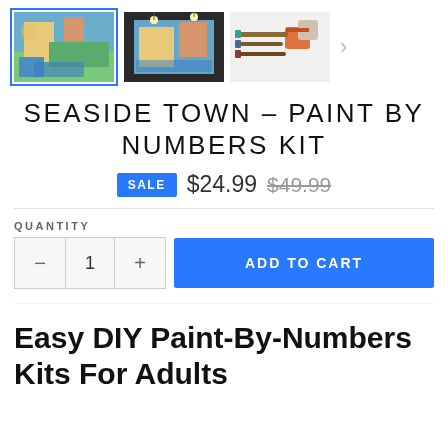[Figure (screenshot): Three product thumbnail images of a paint-by-numbers kit: first shows a seaside town painting (selected with blue border), second shows the same painting in a room setting, third shows art supplies including brushes and paint cups. A right arrow navigation chevron is visible.]
SEASIDE TOWN – PAINT BY NUMBERS KIT
SALE $24.99 $49.99
QUANTITY
− 1 + ADD TO CART
Easy DIY Paint-By-Numbers Kits For Adults